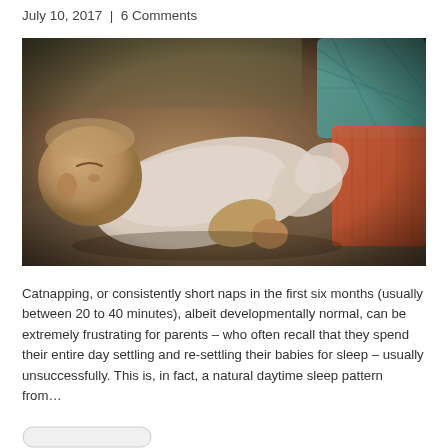July 10, 2017  |  6 Comments
[Figure (photo): A sleeping baby in a white onesie lying on a grey surface, photographed with a warm vintage filter. Colourful cushions visible in the background.]
Catnapping, or consistently short naps in the first six months (usually between 20 to 40 minutes), albeit developmentally normal, can be extremely frustrating for parents – who often recall that they spend their entire day settling and re-settling their babies for sleep – usually unsuccessfully. This is, in fact, a natural daytime sleep pattern from…
[Figure (other): Partial view of a rounded button element at the bottom of the page.]